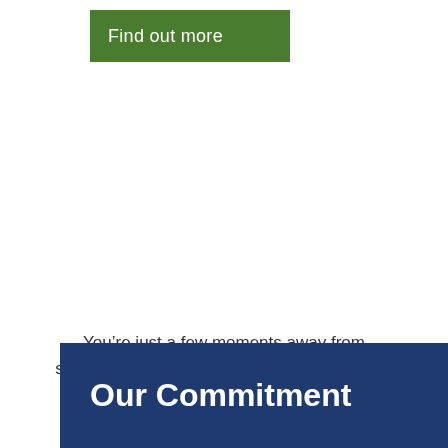[Figure (other): Green button with white text reading 'Find out more']
You’re just a few moments away from switching to a better, simpler pharmacy. Let’s start with some information.
Our Commitment